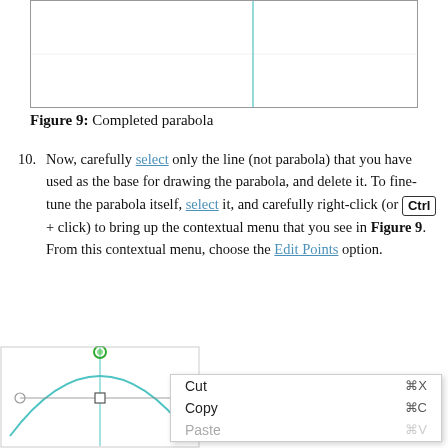[Figure (screenshot): Top portion of a drawing canvas showing a completed parabola with a vertical cyan guideline, partially cropped at top of page.]
Figure 9: Completed parabola
Now, carefully select only the line (not parabola) that you have used as the base for drawing the parabola, and delete it. To fine-tune the parabola itself, select it, and carefully right-click (or Ctrl + click) to bring up the contextual menu that you see in Figure 9. From this contextual menu, choose the Edit Points option.
[Figure (screenshot): Screenshot of a drawing canvas showing a parabola with edit points visible (green circle at top, white squares on curve, circles on handles), overlaid by a context menu with Cut (⌘X), Copy (⌘C), and Paste (⌘V, greyed out) options.]